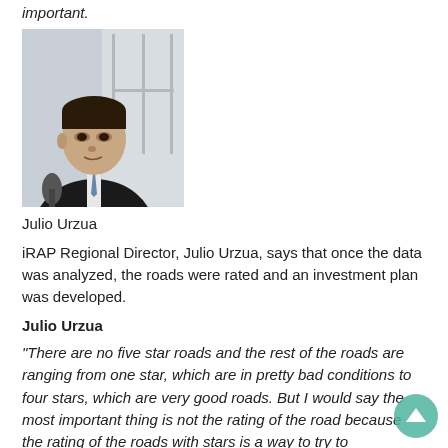important.
[Figure (photo): Black and white photo of Julio Urzua, a man in a dark suit and tie, looking to the right, in an indoor setting.]
Julio Urzua
iRAP Regional Director, Julio Urzua, says that once the data was analyzed, the roads were rated and an investment plan was developed.
Julio Urzua
“There are no five star roads and the rest of the roads are ranging from one star, which are in pretty bad conditions to four stars, which are very good roads. But I would say the most important thing is not the rating of the road because the rating of the roads with stars is a way to try to understand and compare the roads among themselves, this is not the most important part. The most important